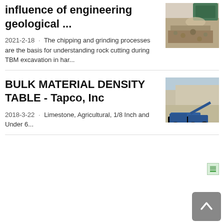influence of engineering geological ...
[Figure (photo): Rock crushing machine processing aggregate material]
2021-2-18 · The chipping and grinding processes are the basis for understanding rock cutting during TBM excavation in har...
BULK MATERIAL DENSITY TABLE - Tapco, Inc
[Figure (photo): Limestone quarry with blue machinery and excavation equipment]
2018-3-22 · Limestone, Agricultural, 1/8 Inch and Under 6...